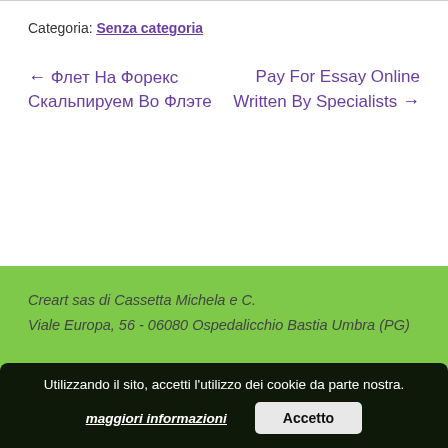Categoria: Senza categoria
← Флет На Форекс Скальпируем Во Флэте
Pay For Essay Online Written By Specialists →
Creart sas di Cassetta Michela e C.
Viale Europa, 56 - 06080 Ospedalicchio Bastia Umbra (PG)
Utilizzando il sito, accetti l'utilizzo dei cookie da parte nostra.
maggiori informazioni
Accetto